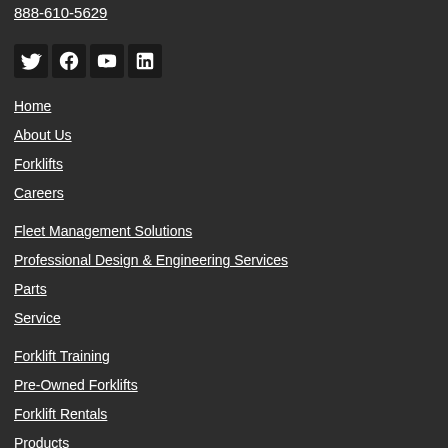888-610-5629
[Figure (other): Social media icons: Twitter, Facebook, YouTube, LinkedIn]
Home
About Us
Forklifts
Careers
Fleet Management Solutions
Professional Design & Engineering Services
Parts
Service
Forklift Training
Pre-Owned Forklifts
Forklift Rentals
Products
Contact Us